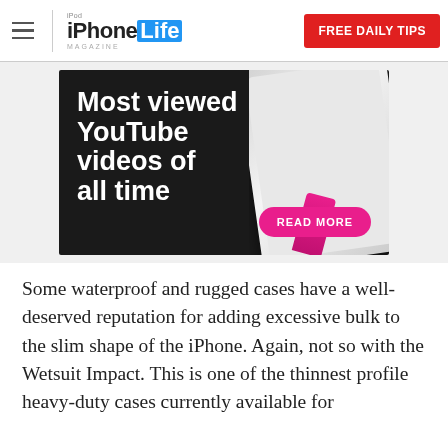iPhone Life Magazine — FREE DAILY TIPS
[Figure (illustration): Advertisement banner with dark background showing 'Most viewed YouTube videos of all time' with a READ MORE pink button and a device image on the right]
Some waterproof and rugged cases have a well-deserved reputation for adding excessive bulk to the slim shape of the iPhone. Again, not so with the Wetsuit Impact. This is one of the thinnest profile heavy-duty cases currently available for